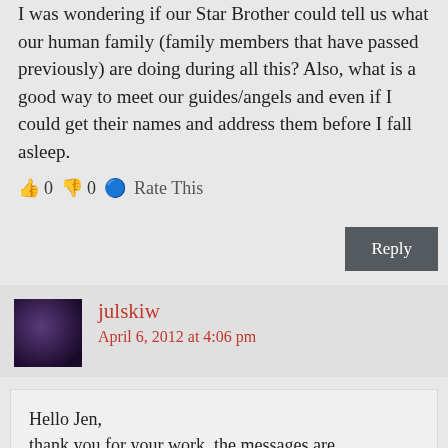I was wondering if our Star Brother could tell us what our human family (family members that have passed previously) are doing during all this? Also, what is a good way to meet our guides/angels and even if I could get their names and address them before I fall asleep.
👍 0 👎 0 🔵 Rate This
Reply
julskiw
April 6, 2012 at 4:06 pm
Hello Jen,
thank you for your work, the messages are